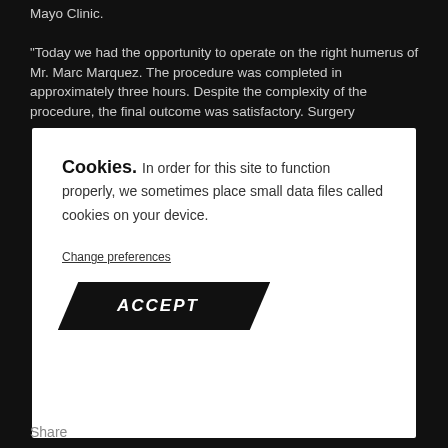Mayo Clinic.
“Today we had the opportunity to operate on the right humerus of Mr. Marc Marquez. The procedure was completed in approximately three hours. Despite the complexity of the procedure, the final outcome was satisfactory. Surgery
Cookies. In order for this site to function properly, we sometimes place small data files called cookies on your device.
Change preferences
ACCEPT
Share